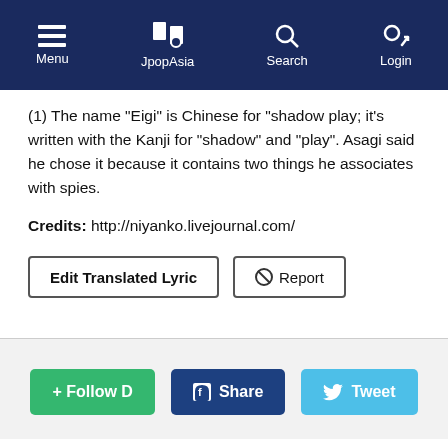Menu | JpopAsia | Search | Login
(1) The name "Eigi" is Chinese for "shadow play; it's written with the Kanji for "shadow" and "play". Asagi said he chose it because it contains two things he associates with spies.
Credits: http://niyanko.livejournal.com/
Edit Translated Lyric | ⊘ Report
+ Follow D | f Share | Tweet